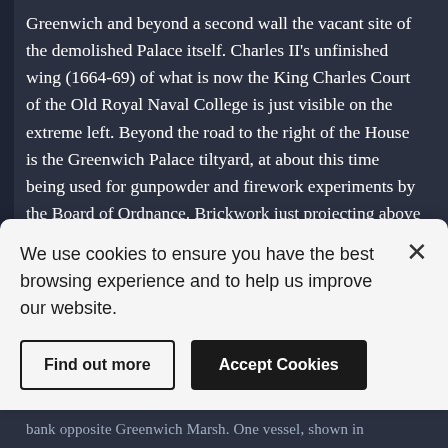Greenwich and beyond a second wall the vacant site of the demolished Palace itself. Charles II's unfinished wing (1664-69) of what is now the King Charles Court of the Old Royal Naval College is just visible on the extreme left. Beyond the road to the right of the House is the Greenwich Palace tiltyard, at about this time being used for gunpowder and firework experiments by the Board of Ordnance. Brickwork just projecting above the Queen's House roof is the top of the so-called 'turret', the ruins of the remaining Tudor tower (one of two) on the west side of the tiltyard, which was only demolished in the late 1690s. An isolated building unclearly shown at the base of the Greenwich peninsula (Greenwich Marsh), where it meets the edge of the hill, is probably the Greenwich
[Figure (screenshot): Cookie consent banner overlay with white/light grey background, containing text about cookie usage, a close (X) button, and two buttons: 'Find out more' (outline style) and 'Accept Cookies' (filled dark style).]
bank opposite Greenwich Marsh. One vessel, shown in